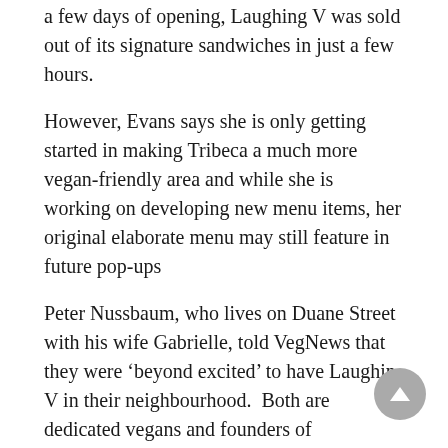a few days of opening, Laughing V was sold out of its signature sandwiches in just a few hours.
However, Evans says she is only getting started in making Tribeca a much more vegan-friendly area and while she is working on developing new menu items, her original elaborate menu may still feature in future pop-ups
Peter Nussbaum, who lives on Duane Street with his wife Gabrielle, told VegNews that they were ‘beyond excited’ to have Laughin V in their neighbourhood.  Both are dedicated vegans and founders of Tamerlaine Sanctuary, a shelter for rescue animals from the food industry. “When I moved here 25 years ago, egg and butter trucks were parked on this block every night,” Nussbaum said.
“We were beyond excited to discover that an ethical vegan neighbour had opened a fully vegan café. I’ve already tried every sandwich on the menu and they’re all amazing.”